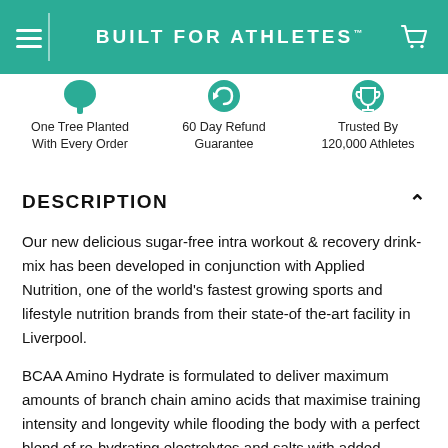BUILT FOR ATHLETES™
One Tree Planted With Every Order
60 Day Refund Guarantee
Trusted By 120,000 Athletes
DESCRIPTION
Our new delicious sugar-free intra workout & recovery drink-mix has been developed in conjunction with Applied Nutrition, one of the world's fastest growing sports and lifestyle nutrition brands from their state-of the-art facility in Liverpool.
BCAA Amino Hydrate is formulated to deliver maximum amounts of branch chain amino acids that maximise training intensity and longevity while flooding the body with a perfect blend of re-hydrating electrolytes and salts with added citrulline.
SUGGESTED USE